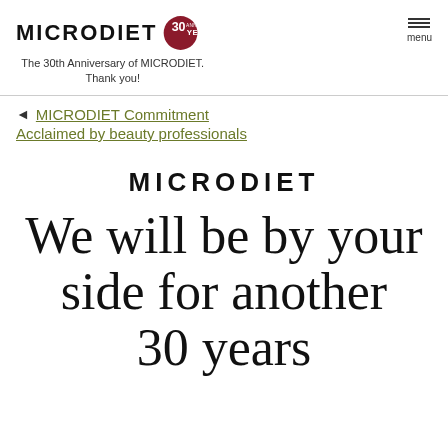MICRODIET 30 ANNIVERSARY YEARS
The 30th Anniversary of MICRODIET. Thank you!
◄ MICRODIET Commitment
Acclaimed by beauty professionals
MICRODIET
We will be by your side for another 30 years